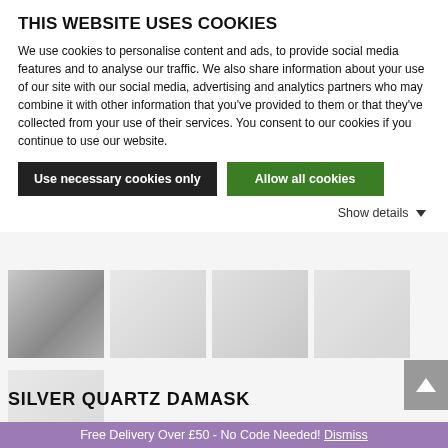THIS WEBSITE USES COOKIES
We use cookies to personalise content and ads, to provide social media features and to analyse our traffic. We also share information about your use of our site with our social media, advertising and analytics partners who may combine it with other information that you've provided to them or that they've collected from your use of their services. You consent to our cookies if you continue to use our website.
Use necessary cookies only
Allow all cookies
Show details
[Figure (photo): Four thumbnail images of wallpaper samples: first shows a room with lamp and gray damask wallpaper, the others show close-up textures of white/silver wallpaper patterns]
[Figure (photo): One thumbnail image showing a close-up of white embossed/textured wallpaper pattern]
SILVER QUARTZ DAMASK
Free Delivery Over £50 - No Code Needed! Dismiss